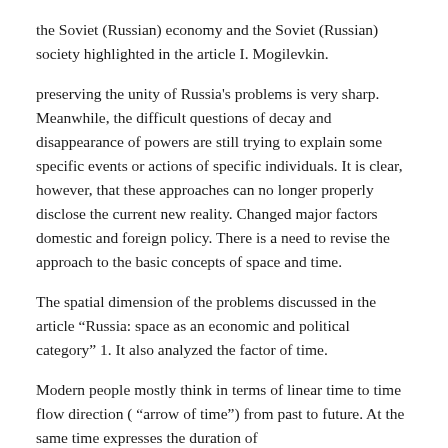the Soviet (Russian) economy and the Soviet (Russian) society highlighted in the article I. Mogilevkin.
preserving the unity of Russia's problems is very sharp. Meanwhile, the difficult questions of decay and disappearance of powers are still trying to explain some specific events or actions of specific individuals. It is clear, however, that these approaches can no longer properly disclose the current new reality. Changed major factors domestic and foreign policy. There is a need to revise the approach to the basic concepts of space and time.
The spatial dimension of the problems discussed in the article “Russia: space as an economic and political category” 1. It also analyzed the factor of time.
Modern people mostly think in terms of linear time to time flow direction (“arrow of time”) from past to future. At the same time expresses the duration of